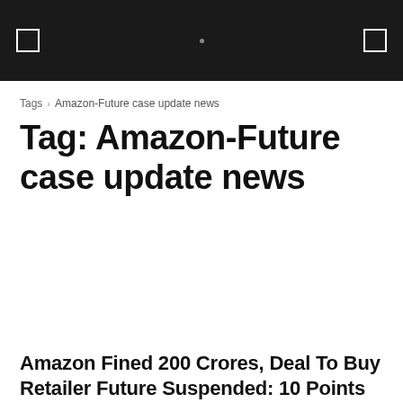Tags › Amazon-Future case update news
Tag: Amazon-Future case update news
Business
Amazon Fined 200 Crores, Deal To Buy Retailer Future Suspended: 10 Points